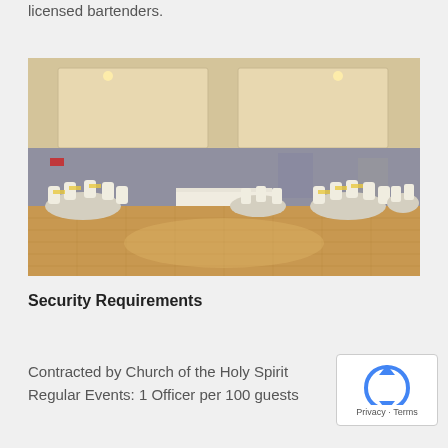licensed bartenders.
[Figure (photo): Large banquet hall with parquet dance floor in foreground, round tables with white chair covers and yellow sashes arranged around the perimeter, a head table draped in white fabric at the back center, recessed lighting in a coffered ceiling.]
Security Requirements
Contracted by Church of the Holy Spirit
Regular Events: 1 Officer per 100 guests